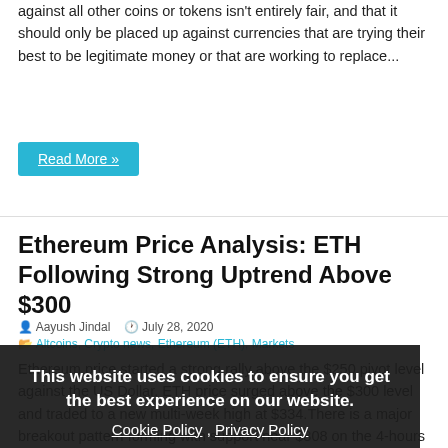against all other coins or tokens isn't entirely fair, and that it should only be placed up against currencies that are trying their best to be legitimate money or that are working to replace...
Read More »
Ethereum Price Analysis: ETH Following Strong Uptrend Above $300
Aayush Jindal   July 28, 2020
Altcoins, Crypto news, Ethereum (ETH), Markets
Ethereum price started a strong rally above the $250 pivot level against the US Dollar. ETH price surged above the $300 level and traded to a new multi-week high at $334.There is a major breakout pattern forming with support near $308 on the 4-hours chart (data feed from Coinbase).The pair remains in a strong uptrend and is likely to resume its rise above $320.Ethereum price is trading nicely in an uptrend above $300 against the US Dollar. ETH/USD is likely to climb back above $320 and...
This website uses cookies to ensure you get the best experience on our website. Cookie Policy , Privacy Policy Got it!